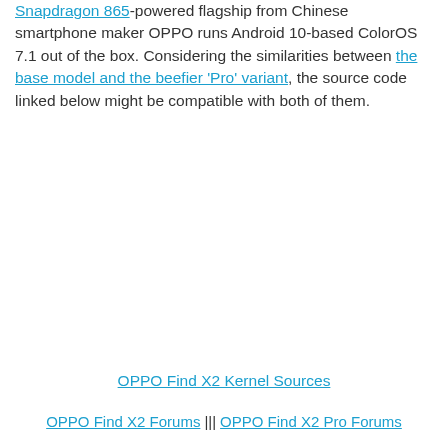Snapdragon 865-powered flagship from Chinese smartphone maker OPPO runs Android 10-based ColorOS 7.1 out of the box. Considering the similarities between the base model and the beefier 'Pro' variant, the source code linked below might be compatible with both of them.
OPPO Find X2 Kernel Sources
OPPO Find X2 Forums ||| OPPO Find X2 Pro Forums